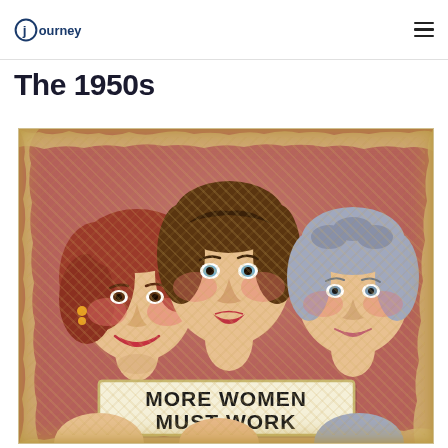journey (logo)
The 1950s
[Figure (illustration): Vintage 1950s propaganda-style poster showing three women of different ages (young redhead, middle-aged brunette, and older woman with blue-grey hair) with a banner reading 'MORE WOMEN MUST WORK']